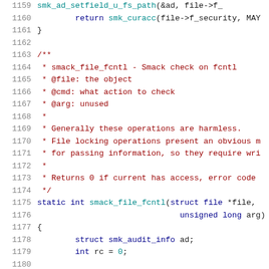[Figure (screenshot): Source code listing showing C code for smack_file_fcntl function, lines 1159-1179, with syntax highlighting. Dark red for comments, dark blue for keywords, teal for function names, gray for line numbers.]